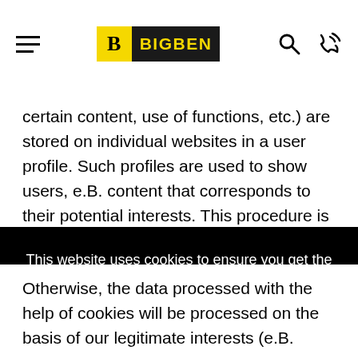BIGBEN
certain content, use of functions, etc.) are stored on individual websites in a user profile. Such profiles are used to show users, e.B. content that corresponds to their potential interests. This procedure is also known as "tracking", i.e. tracking the potential interests of
This website uses cookies to ensure you get the best experience on our website.
Privacy & Policy
GOT IT!
Otherwise, the data processed with the help of cookies will be processed on the basis of our legitimate interests (e.B.